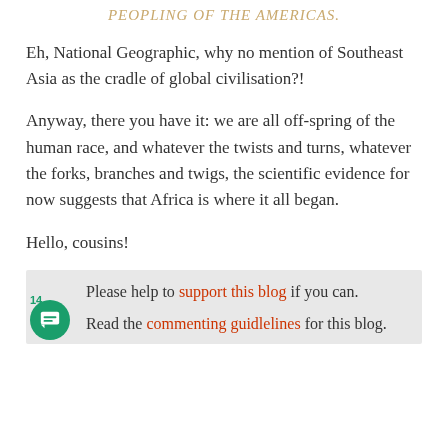PEOPLING OF THE AMERICAS.
Eh, National Geographic, why no mention of Southeast Asia as the cradle of global civilisation?!
Anyway, there you have it: we are all off-spring of the human race, and whatever the twists and turns, whatever the forks, branches and twigs, the scientific evidence for now suggests that Africa is where it all began.
Hello, cousins!
Please help to support this blog if you can.
Read the commenting guidlelines for this blog.